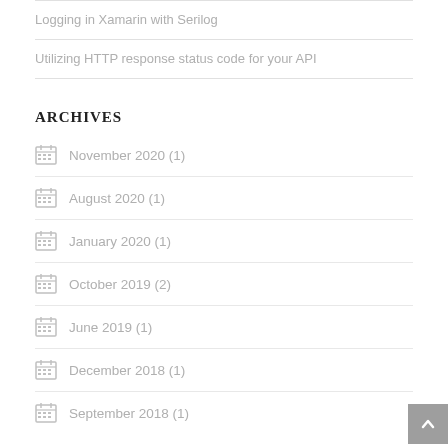Logging in Xamarin with Serilog
Utilizing HTTP response status code for your API
ARCHIVES
November 2020 (1)
August 2020 (1)
January 2020 (1)
October 2019 (2)
June 2019 (1)
December 2018 (1)
September 2018 (1)